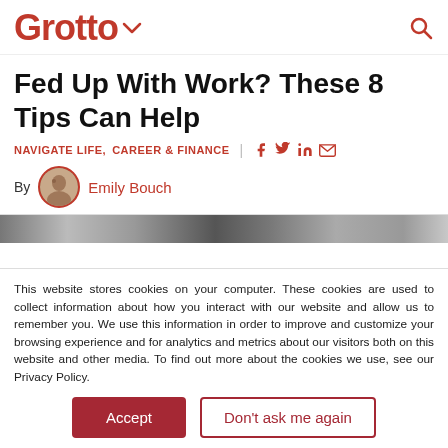Grotto
Fed Up With Work? These 8 Tips Can Help
NAVIGATE LIFE,  CAREER & FINANCE
By Emily Bouch
[Figure (photo): Partial image strip visible at top of article]
This website stores cookies on your computer. These cookies are used to collect information about how you interact with our website and allow us to remember you. We use this information in order to improve and customize your browsing experience and for analytics and metrics about our visitors both on this website and other media. To find out more about the cookies we use, see our Privacy Policy.
Accept | Don't ask me again